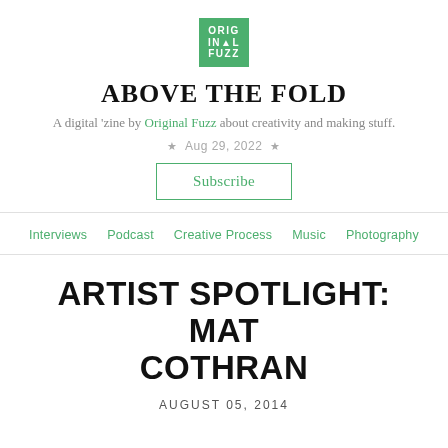[Figure (logo): Original Fuzz logo — green square with white text reading ORIGINAL FUZZ]
ABOVE THE FOLD
A digital 'zine by Original Fuzz about creativity and making stuff.
★  Aug 29, 2022  ★
Subscribe
Interviews   Podcast   Creative Process   Music   Photography
ARTIST SPOTLIGHT: MAT COTHRAN
AUGUST 05, 2014